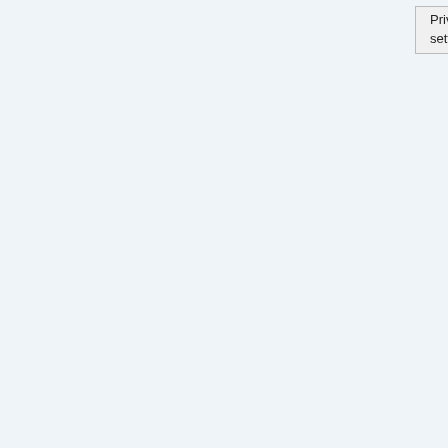customers who wish to dine in, v Order Kiosk or at the cashier, then c You can then sit at any preferred tab the table for the bot to scan so it ma Jollibot to serve your order. Once th food, you then take the tray from the
The Jollibots may be considered as extend a helping hand in dispatching crew to focus on other important tas especially during peak hours.
The Jollibots will be there to help
“With the Jollibots, our store teams i serving their customers even more e additions, we have maintained and v these branches as they remain integ Alagang Jollibee brand of service,” s
The Jollibots, along with the fast-foo company’s signature “Alagang Jollibo